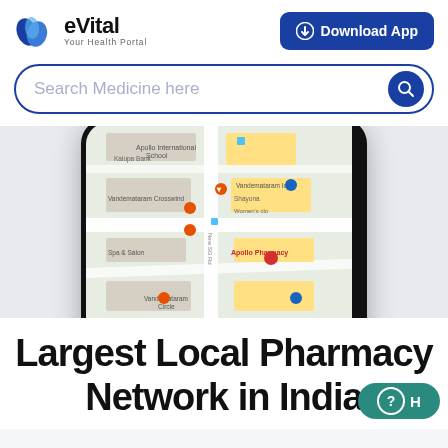[Figure (logo): eVital logo — blue water-drop icon with text 'eVital' and tagline 'Your Health Portal']
[Figure (screenshot): Download App button — dark blue rounded rectangle with download icon]
Search Medicine here
[Figure (screenshot): Smartphone displaying a Google Maps view showing Apollo Pharmacy, Vandemataram Crosswind, Kalupa Bank, Apollo International School and other local landmarks with map pins]
Largest Local Pharmacy Network in India